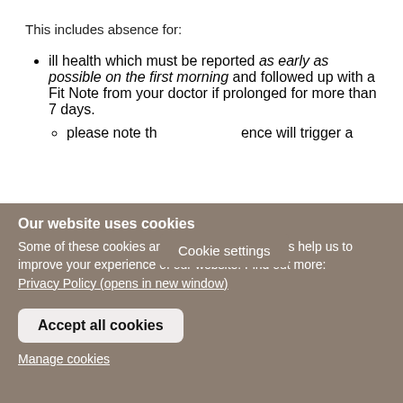This includes absence for:
ill health which must be reported as early as possible on the first morning and followed up with a Fit Note from your doctor if prolonged for more than 7 days.
please note th[at any prolonged abs]ence will trigger a [formal process...]
Cookie settings
Our website uses cookies
Some of these cookies are essential, while others help us to improve your experience of our website. Find out more: Privacy Policy (opens in new window)
Accept all cookies
Manage cookies